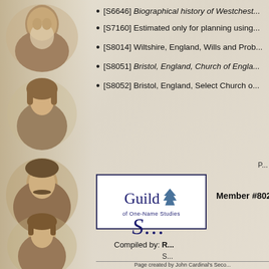[Figure (photo): Sepia portrait strip on left side showing four vintage portrait photographs of people from the 19th century]
[S6646] Biographical history of Westchest...
[S7160] Estimated only for planning using...
[S8014] Wiltshire, England, Wills and Prob...
[S8051] Bristol, England, Church of Engla...
[S8052] Bristol, England, Select Church o...
P...
[Figure (logo): Guild of One-Name Studies logo with tree icon in a bordered rectangle]
Member #8025 ~ G...
S...
Compiled by: R...
S...
Page created by John Cardinal's Seco...